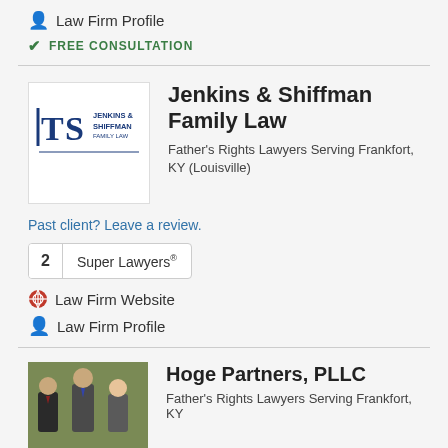Law Firm Profile
FREE CONSULTATION
[Figure (logo): Jenkins & Shiffman Family Law logo with TS monogram and firm name]
Jenkins & Shiffman Family Law
Father's Rights Lawyers Serving Frankfort, KY (Louisville)
Past client? Leave a review.
2 Super Lawyers®
Law Firm Website
Law Firm Profile
[Figure (photo): Photo of three attorneys from Hoge Partners, PLLC]
Hoge Partners, PLLC
Father's Rights Lawyers Serving Frankfort, KY